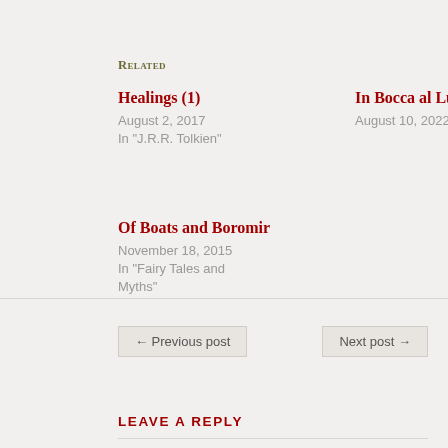Related
Healings (1)
August 2, 2017
In "J.R.R. Tolkien"
In Bocca al Lupo
August 10, 2022
Of Boats and Boromir
November 18, 2015
In "Fairy Tales and Myths"
← Previous post
Next post →
Leave a Reply